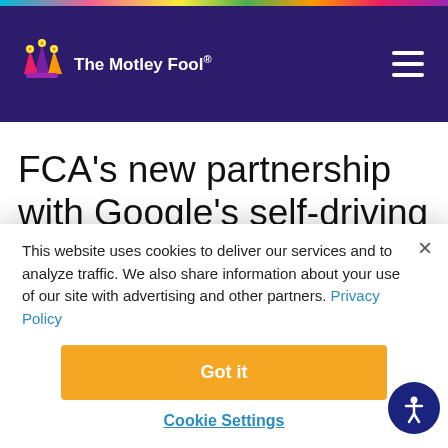The Motley Fool
FCA's new partnership with Google's self-driving car team could result in something great. But it
This website uses cookies to deliver our services and to analyze traffic. We also share information about your use of our site with advertising and other partners. Privacy Policy
Got it
Cookie Settings